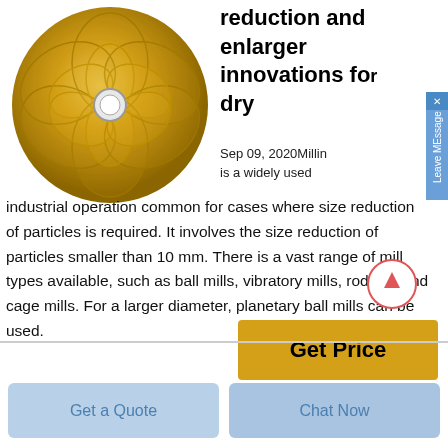[Figure (photo): Golden/brass decorative ball or milling media sphere with petal-shaped overlapping disc pattern and central hole, photographed on white background.]
reduction and enlarger innovations for dry
Sep 09, 2020Milling is a widely used industrial operation common for cases where size reduction of particles is required. It involves the size reduction of particles smaller than 10 mm. There is a vast range of mill types available, such as ball mills, vibratory mills, rod, jet, and cage mills. For a larger diameter, planetary ball mills can be used.
Get a Quote
Chat Now